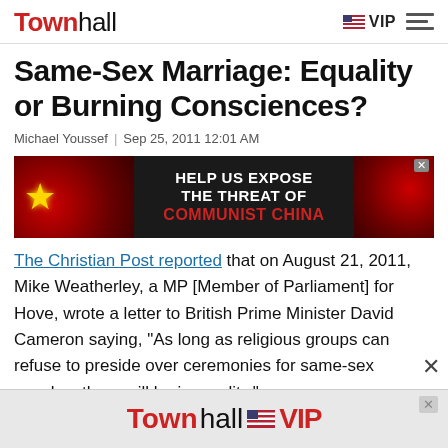Townhall | VIP
Same-Sex Marriage: Equality or Burning Consciences?
Michael Youssef  |  Sep 25, 2011 12:01 AM
[Figure (infographic): Advertisement banner: HELP US EXPOSE THE THREAT OF COMMUNIST CHINA with Chinese flag imagery and a portrait photo]
The Christian Post reported that on August 21, 2011, Mike Weatherley, a MP [Member of Parliament] for Hove, wrote a letter to British Prime Minister David Cameron saying, "As long as religious groups can refuse to preside over ceremonies for same-sex couples, there will be inequality."
[Figure (infographic): Bottom advertisement: Townhall VIP logo on gray background]